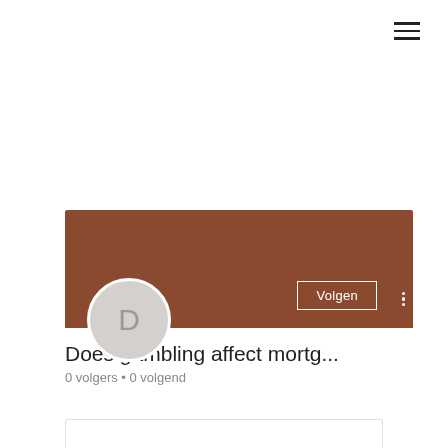[Figure (screenshot): Hamburger menu icon (three horizontal lines) in top-right corner]
[Figure (screenshot): Social media profile card with brown cover banner, circular avatar with letter D, Volgen (Follow) button, three-dot menu, profile title 'Does gambling affect mortg...' and stats '0 volgers • 0 volgend']
Does gambling affect mortg...
0 volgers • 0 volgend